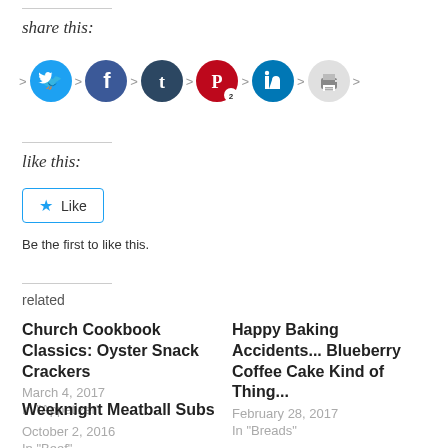share this:
[Figure (infographic): Social sharing icons row: Twitter (blue), Facebook (blue), Tumblr (dark), Pinterest (red, badge 2), LinkedIn (blue), Print (gray), with arrow separators]
like this:
★ Like
Be the first to like this.
related
Church Cookbook Classics: Oyster Snack Crackers
March 4, 2017
In "Appetizer"
Happy Baking Accidents... Blueberry Coffee Cake Kind of Thing...
February 28, 2017
In "Breads"
Weeknight Meatball Subs
October 2, 2016
In "Beef"